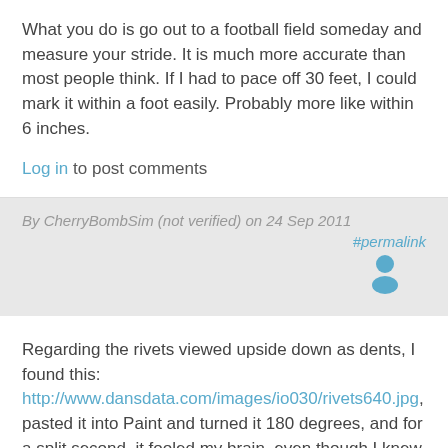What you do is go out to a football field someday and measure your stride. It is much more accurate than most people think. If I had to pace off 30 feet, I could mark it within a foot easily. Probably more like within 6 inches.
Log in to post comments
By CherryBombSim (not verified) on 24 Sep 2011
#permalink
[Figure (illustration): User avatar icon in blue/teal color]
Regarding the rivets viewed upside down as dents, I found this: http://www.dansdata.com/images/io030/rivets640.jpg, pasted it into Paint and turned it 180 degrees, and for a split second, it fooled my brain, even though I knew what I was looking for.
Jim, note that the planets are not, in fact, on the same plane. Each planet's orbital plane passes through the center...